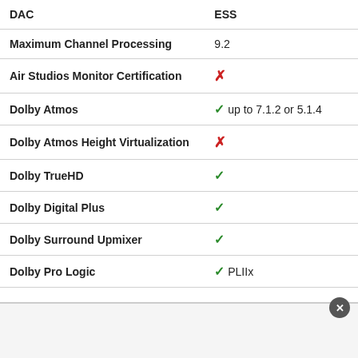| DAC | ESS |
| --- | --- |
| Maximum Channel Processing | 9.2 |
| Air Studios Monitor Certification | ✗ |
| Dolby Atmos | ✓ up to 7.1.2 or 5.1.4 |
| Dolby Atmos Height Virtualization | ✗ |
| Dolby TrueHD | ✓ |
| Dolby Digital Plus | ✓ |
| Dolby Surround Upmixer | ✓ |
| Dolby Pro Logic | ✓ PLIIx |